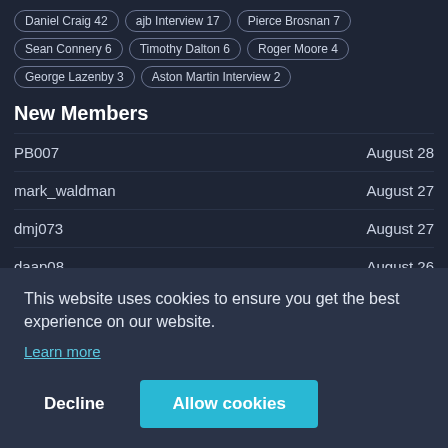Daniel Craig 42
ajb Interview 17
Pierce Brosnan 7
Sean Connery 6
Timothy Dalton 6
Roger Moore 4
George Lazenby 3
Aston Martin Interview 2
New Members
| Username | Date |
| --- | --- |
| PB007 | August 28 |
| mark_waldman | August 27 |
| dmj073 | August 27 |
| daap08 | August 26 |
|  | gust 24 |
This website uses cookies to ensure you get the best experience on our website.
Learn more
Decline
Allow cookies